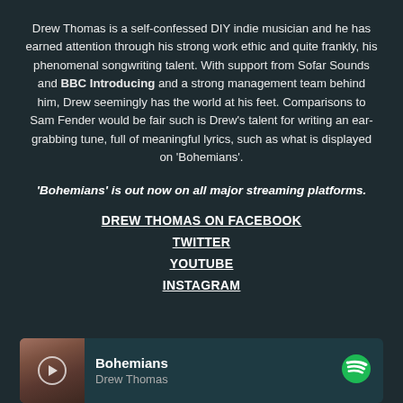Drew Thomas is a self-confessed DIY indie musician and he has earned attention through his strong work ethic and quite frankly, his phenomenal songwriting talent. With support from Sofar Sounds and BBC Introducing and a strong management team behind him, Drew seemingly has the world at his feet. Comparisons to Sam Fender would be fair such is Drew's talent for writing an ear-grabbing tune, full of meaningful lyrics, such as what is displayed on 'Bohemians'.
'Bohemians' is out now on all major streaming platforms.
DREW THOMAS ON FACEBOOK
TWITTER
YOUTUBE
INSTAGRAM
[Figure (screenshot): Spotify player bar showing 'Bohemians' by Drew Thomas with album art thumbnail, play button, and Spotify logo]